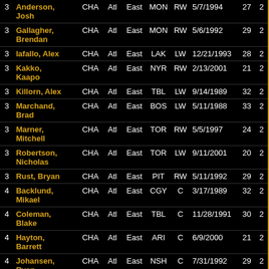| Rd | Name | Team | Conf-div |  | NHL Team | Pos | DOB | Age |  |
| --- | --- | --- | --- | --- | --- | --- | --- | --- | --- |
| 3 | Anderson, Josh | CHA | Atl | East | MON | RW | 5/7/1994 | 27 | 2 |
| 3 | Gallagher, Brendan | CHA | Atl | East | MON | RW | 5/6/1992 | 29 | 2 |
| 3 | Iafallo, Alex | CHA | Atl | East | LAK | LW | 12/21/1993 | 28 | 2 |
| 3 | Kakko, Kaapo | CHA | Atl | East | NYR | RW | 2/13/2001 | 21 | 2 |
| 3 | Killorn, Alex | CHA | Atl | East | TBL | LW | 9/14/1989 | 32 | 2 |
| 3 | Marchand, Brad | CHA | Atl | East | BOS | LW | 5/11/1988 | 33 | 2 |
| 3 | Marner, Mitchell | CHA | Atl | East | TOR | RW | 5/5/1997 | 24 | 2 |
| 3 | Robertson, Nicholas | CHA | Atl | East | TOR | LW | 9/11/2001 | 20 | 2 |
| 3 | Rust, Bryan | CHA | Atl | East | PIT | RW | 5/11/1992 | 29 | 2 |
| 4 | Backlund, Mikael | CHA | Atl | East | CGY | C | 3/17/1989 | 32 | 2 |
| 4 | Coleman, Blake | CHA | Atl | East | TBL | C | 11/28/1991 | 30 | 2 |
| 4 | Hayton, Barrett | CHA | Atl | East | ARI | C | 6/9/2000 | 21 | 2 |
| 4 | Johansen, Ryan | CHA | Atl | East | NSH | C | 7/31/1992 | 29 | 2 |
| 4 | Marchessault, Jonathan | CHA | Atl | East | VGK | C | 12/27/1990 | 31 | 2 |